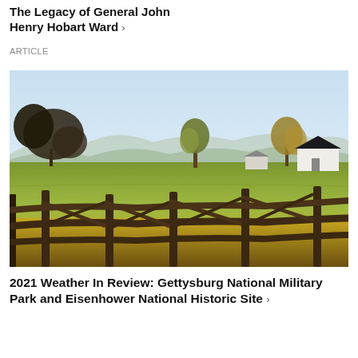The Legacy of General John Henry Hobart Ward ›
ARTICLE
[Figure (photo): Autumn landscape of Gettysburg battlefield fields with golden grass and trees, a white barn building in the distance, mountains on the horizon, and a rustic split-rail wooden fence in the foreground under a pale blue sky.]
2021 Weather In Review: Gettysburg National Military Park and Eisenhower National Historic Site ›